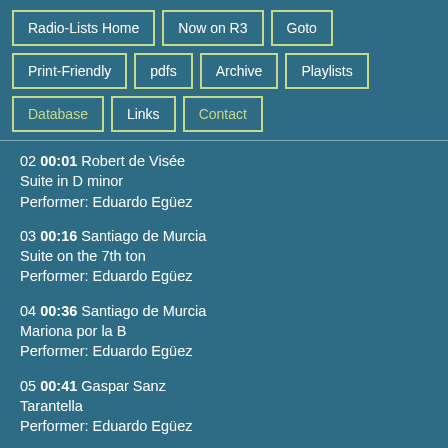Radio-Lists Home
Now on R3
Goto
Print-Friendly
pdfs
Archive
Playlists
Database
Links
Contact
02 00:01 Robert de Visée
Suite in D minor
Performer: Eduardo Egüez
03 00:16 Santiago de Murcia
Suite on the 7th ton
Performer: Eduardo Egüez
04 00:36 Santiago de Murcia
Mariona por la B
Performer: Eduardo Egüez
05 00:41 Gaspar Sanz
Tarantella
Performer: Eduardo Egüez